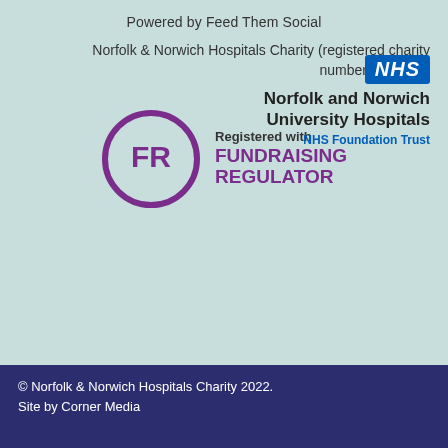Powered by Feed Them Social
[Figure (logo): NHS Norfolk and Norwich University Hospitals NHS Foundation Trust logo with blue NHS badge and trust name]
Norfolk & Norwich Hospitals Charity (registered charity number 1048170)
[Figure (logo): Registered with Fundraising Regulator logo — purple circle with FR initials and text]
© Norfolk & Norwich Hospitals Charity 2022.

Site by Corner Media